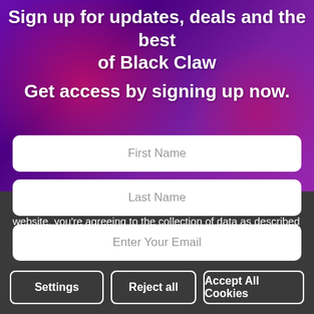Sign up for updates, deals and the best of Black Claw
Get access by signing up now.
[Figure (screenshot): Sign-up form with three text input fields for First Name, Last Name, and Enter Your Email on a purple/pink branded background]
We use cookies (and other similar technologies) to collect data to improve your shopping experience. By using our website, you're agreeing to the collection of data as described in our Privacy Policy.
Settings
Reject all
Accept All Cookies